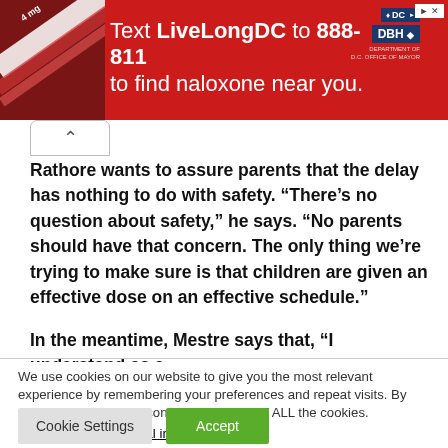[Figure (infographic): Red banner advertisement: Text LiveLongDC to 888-811 to find naloxone near you. DC Department of Health logos on right side. Pill/syringe image on left.]
Rathore wants to assure parents that the delay has nothing to do with safety. “There’s no question about safety,” he says. “No parents should have that concern. The only thing we’re trying to make sure is that children are given an effective dose on an effective schedule.”
In the meantime, Mestre says that, “I understand as a
We use cookies on our website to give you the most relevant experience by remembering your preferences and repeat visits. By clicking “Accept”, you consent to the use of ALL the cookies.
Do not sell my personal information.